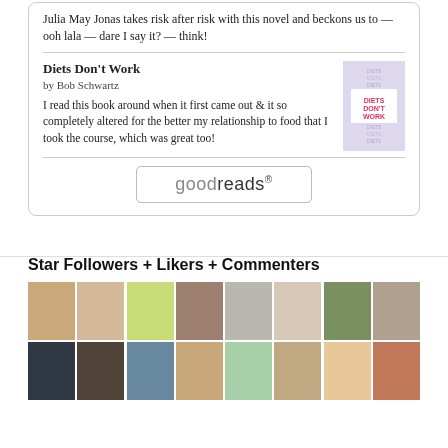Julia May Jonas takes risk after risk with this novel and beckons us to — ooh lala — dare I say it? — think!
Diets Don't Work
by Bob Schwartz
I read this book around when it first came out & it so completely altered for the better my relationship to food that I took the course, which was great too!
[Figure (logo): goodreads logo button]
Star Followers + Likers + Commenters
[Figure (photo): Grid of 16 avatar/profile photos of followers, likers, and commenters]